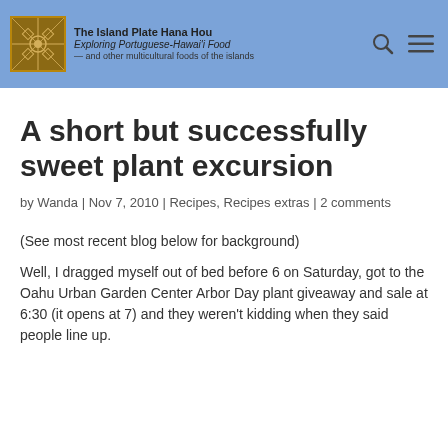The Island Plate Hana Hou Exploring Portuguese-Hawai'i Food — and other multicultural foods of the islands
A short but successfully sweet plant excursion
by Wanda | Nov 7, 2010 | Recipes, Recipes extras | 2 comments
(See most recent blog below for background)
Well, I dragged myself out of bed before 6 on Saturday, got to the Oahu Urban Garden Center Arbor Day plant giveaway and sale at 6:30 (it opens at 7) and they weren't kidding when they said people line up.